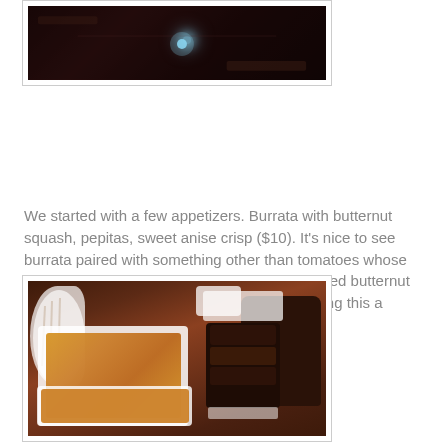[Figure (photo): Photo of a restaurant table setting with dim lighting and a blue candle or light source glowing in the center, dark ambiance.]
We started with a few appetizers. Burrata with butternut squash, pepitas, sweet anise crisp ($10). It's nice to see burrata paired with something other than tomatoes whose season are coming to an end. There was pureed butternut as well as a few chunks with the pepitas making this a sweet, salty, creamy treat.
[Figure (photo): Photo of food dishes on a wooden restaurant table including a white rectangular dish with a cheesy orange appetizer, a small bowl of sauce, a plate with fries, and a dark burger on the right.]